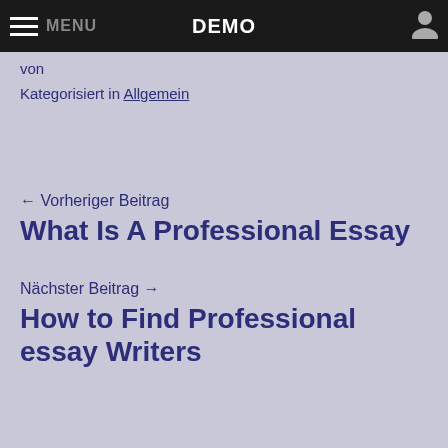MENU  DEMO
von
Kategorisiert in Allgemein
← Vorheriger Beitrag
What Is A Professional Essay
Nächster Beitrag →
How to Find Professional essay Writers